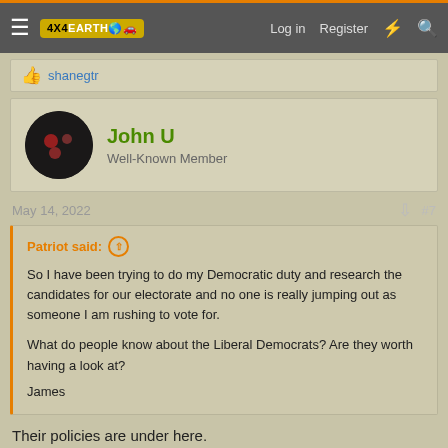4X4EARTH — Log in | Register
shanegtr
John U
Well-Known Member
May 14, 2022   #7
Patriot said:
So I have been trying to do my Democratic duty and research the candidates for our electorate and no one is really jumping out as someone I am rushing to vote for.
What do people know about the Liberal Democrats? Are they worth having a look at?
James
Their policies are under here.
Liberal Democrats